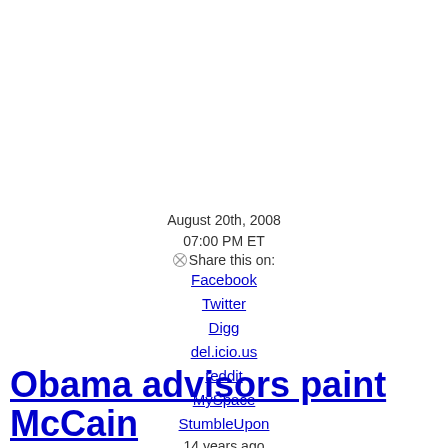August 20th, 2008
07:00 PM ET
⊗Share this on:
Facebook
Twitter
Digg
del.icio.us
reddit
MySpace
StumbleUpon
14 years ago
Obama advisors paint McCain